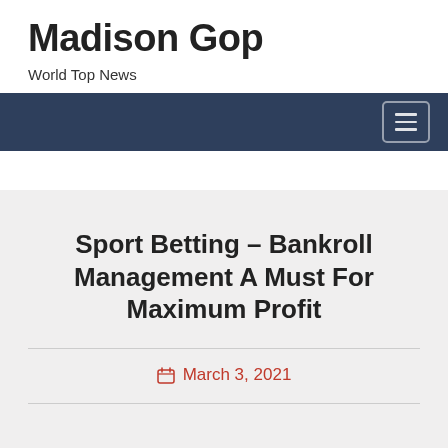Madison Gop
World Top News
Sport Betting – Bankroll Management A Must For Maximum Profit
March 3, 2021